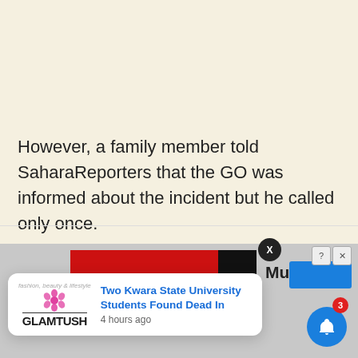However, a family member told SaharaReporters that the GO was informed about the incident but he called only once.
[Figure (screenshot): Advertisement banner showing a red and black strip with 'Murder' text visible, with X close button and help/close icons]
[Figure (screenshot): Notification popup from GlamTush showing headline 'Two Kwara State University Students Found Dead In' posted 4 hours ago, with a bell notification icon showing badge count of 3]